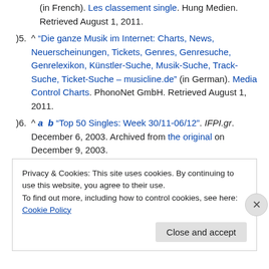(in French). Les classement single. Hung Medien. Retrieved August 1, 2011.
05. ^ "Die ganze Musik im Internet: Charts, News, Neuerscheinungen, Tickets, Genres, Genresuche, Genrelexikon, Künstler-Suche, Musik-Suche, Track-Suche, Ticket-Suche – musicline.de" (in German). Media Control Charts. PhonoNet GmbH. Retrieved August 1, 2011.
06. ^ a b "Top 50 Singles: Week 30/11-06/12". IFPI.gr. December 6, 2003. Archived from the original on December 9, 2003.
Privacy & Cookies: This site uses cookies. By continuing to use this website, you agree to their use. To find out more, including how to control cookies, see here: Cookie Policy